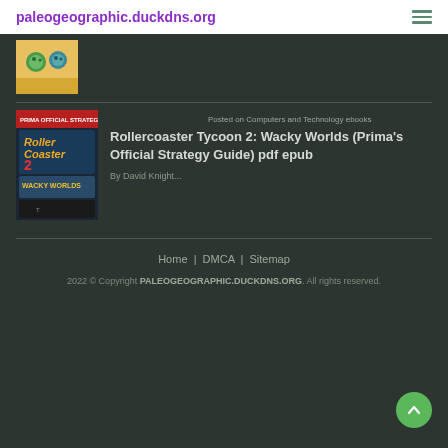paleogeographic.duckdns.org
[Figure (illustration): Top book cover thumbnail (green/cartoon style)]
Posted on Computers and Technology ebooks
Rollercoaster Tycoon 2: Wacky Worlds (Prima's Official Strategy Guide) pdf epub
By David Knight...
Home | DMCA | Sitemap
2022 © Copyright PALEOGEOGRAPHIC.DUCKDNS.ORG. All rights reserved.